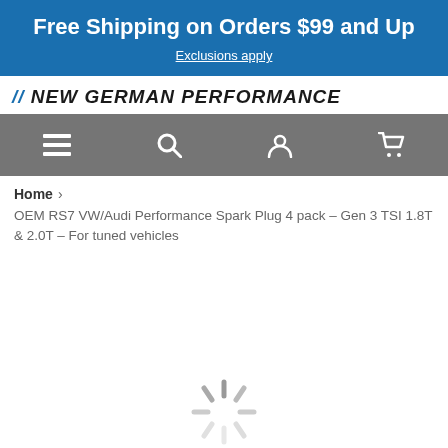Free Shipping on Orders $99 and Up
Exclusions apply
[Figure (logo): New German Performance logo with italic bold text and blue slashes]
[Figure (screenshot): Navigation bar with menu, search, account, and cart icons on grey background]
Home > OEM RS7 VW/Audi Performance Spark Plug 4 pack – Gen 3 TSI 1.8T & 2.0T – For tuned vehicles
[Figure (other): Loading spinner graphic at bottom of page]